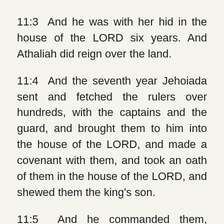11:3  And he was with her hid in the house of the LORD six years. And Athaliah did reign over the land.
11:4  And the seventh year Jehoiada sent and fetched the rulers over hundreds, with the captains and the guard, and brought them to him into the house of the LORD, and made a covenant with them, and took an oath of them in the house of the LORD, and shewed them the king's son.
11:5  And he commanded them, saying, This is the thing that ye shall do; A third part of you that enter in on the sabbath shall even be keepers of the watch of the